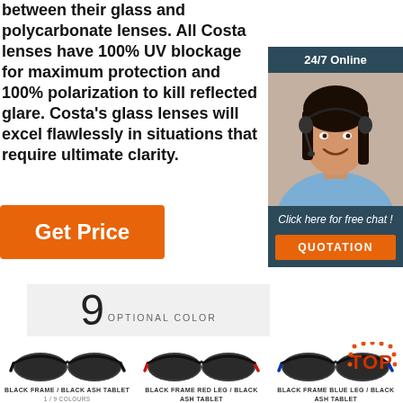between their glass and polycarbonate lenses. All Costa lenses have 100% UV blockage for maximum protection and 100% polarization to kill reflected glare. Costa's glass lenses will excel flawlessly in situations that require ultimate clarity.
[Figure (photo): Customer service representative with headset, '24/7 Online' header, 'Click here for free chat!' text, and 'QUOTATION' orange button]
[Figure (illustration): Orange 'Get Price' button]
9 OPTIONAL COLOR
[Figure (photo): Black frame / Black ash tablet sunglasses - 1/9 Colours]
BLACK FRAME / BLACK ASH TABLET
1 / 9 Colours
[Figure (photo): Black frame red leg / Black ash tablet sunglasses - 2/9 Colours]
BLACK FRAME RED LEG / BLACK ASH TABLET
2 / 9 Colours
[Figure (photo): Black frame blue leg / Black ash tablet sunglasses - 3/9 Colours with TOP badge]
BLACK FRAME BLUE LEG / BLACK ASH TABLET
3 / 9 Colours